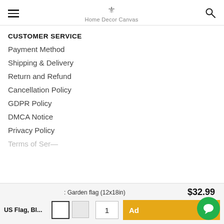Home Decor Canvas
CUSTOMER SERVICE
Payment Method
Shipping & Delivery
Return and Refund
Cancellation Policy
GDPR Policy
DMCA Notice
Privacy Policy
Terms of Service (partially visible)
$32.99
: Garden flag (12x18in)
US Flag, Bl...
1
Ad